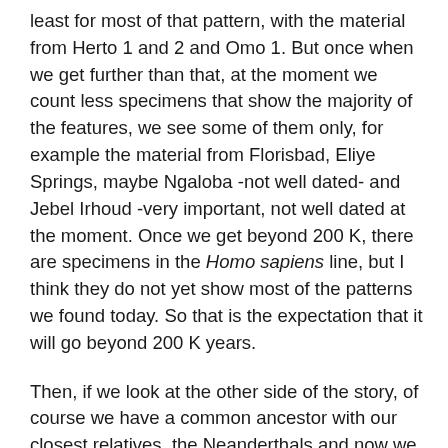least for most of that pattern, with the material from Herto 1 and 2 and Omo 1. But once when we get further than that, at the moment we count less specimens that show the majority of the features, we see some of them only, for example the material from Florisbad, Eliye Springs, maybe Ngaloba -not well dated- and Jebel Irhoud -very important, not well dated at the moment. Once we get beyond 200 K, there are specimens in the Homo sapiens line, but I think they do not yet show most of the patterns we found today. So that is the expectation that it will go beyond 200 K years.
Then, if we look at the other side of the story, of course we have a common ancestor with our closest relatives, the Neanderthals and now we have to add the Denisovans, and when that was that ancestor around? For a long time I supported the view that the ancestor probably lived maybe 400 K years ago. We can support that from mitochondrial DNA that seems to suggest a common ancestor around 400 K years, and also if we look at the fossil record there are signs of Neanderthal